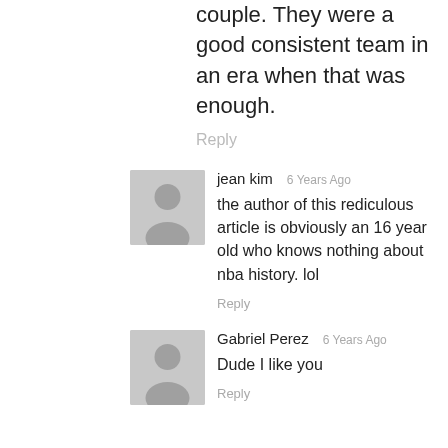couple. They were a good consistent team in an era when that was enough.
Reply
jean kim  6 Years Ago
the author of this rediculous article is obviously an 16 year old who knows nothing about nba history. lol
Reply
Gabriel Perez  6 Years Ago
Dude I like you
Reply